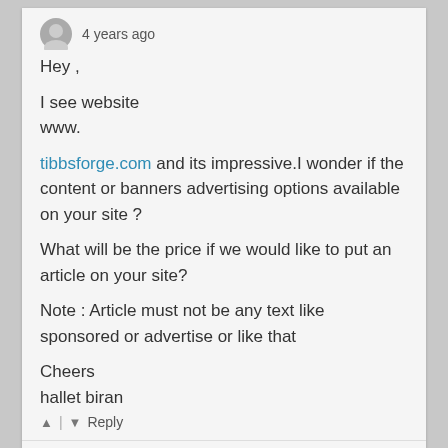4 years ago
Hey ,

I see website
www.

tibbsforge.com and its impressive.I wonder if the content or banners advertising options available on your site ?

What will be the price if we would like to put an article on your site?

Note : Article must not be any text like sponsored or advertise or like that

Cheers
hallet biran
Reply
Green Knight
8 years ago
"Of course I miss the rose-tinted glory days of